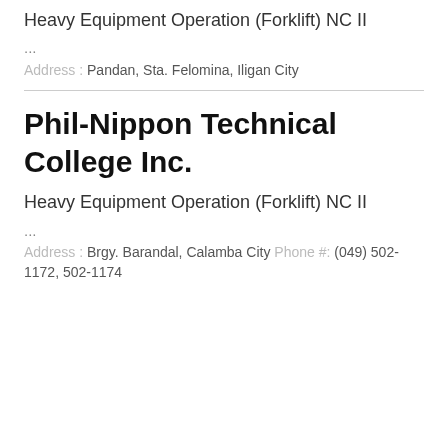Heavy Equipment Operation (Forklift) NC II
...
Address : Pandan, Sta. Felomina, Iligan City
Phil-Nippon Technical College Inc.
Heavy Equipment Operation (Forklift) NC II
...
Address : Brgy. Barandal, Calamba City Phone #: (049) 502-1172, 502-1174